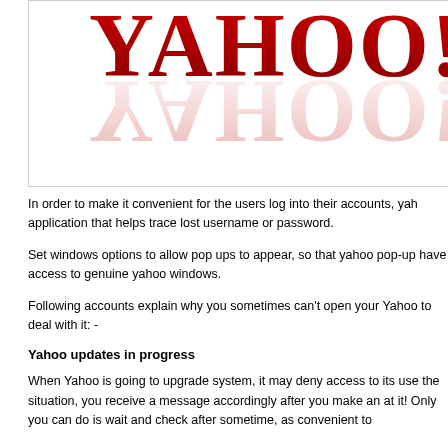[Figure (logo): Yahoo! logo in red serif font with reflection effect, partially cropped at right edge]
In order to make it convenient for the users log into their accounts, yah... application that helps trace lost username or password.
Set windows options to allow pop ups to appear, so that yahoo pop-up... have access to genuine yahoo windows.
Following accounts explain why you sometimes can't open your Yahoo... to deal with it: -
Yahoo updates in progress
When Yahoo is going to upgrade system, it may deny access to its use... the situation, you receive a message accordingly after you make an at... it! Only you can do is wait and check after sometime, as convenient to...